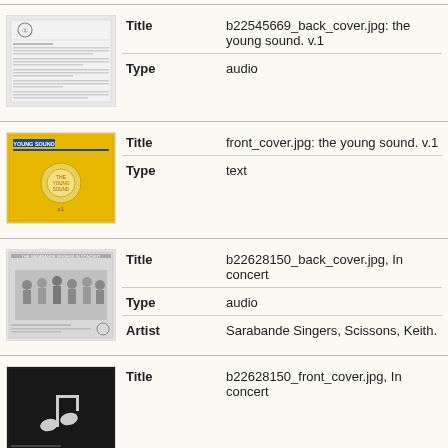| [thumbnail: back cover grayscale] | Title | b22545669_back_cover.jpg: the young sound. v.1 |
|  | Type | audio |
| [thumbnail: yellow front cover] | Title | front_cover.jpg: the young sound. v.1 |
|  | Type | text |
| [thumbnail: back cover b&w group photo] | Title | b22628150_back_cover.jpg, In concert |
|  | Type | audio |
|  | Artist | Sarabande Singers, Scissons, Keith. |
| [thumbnail: dark front cover] | Title | b22628150_front_cover.jpg, In concert |